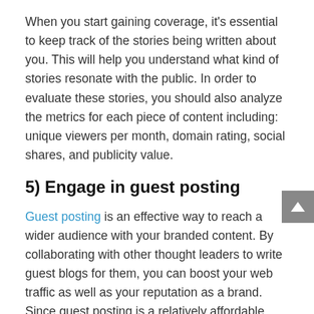When you start gaining coverage, it's essential to keep track of the stories being written about you. This will help you understand what kind of stories resonate with the public. In order to evaluate these stories, you should also analyze the metrics for each piece of content including: unique viewers per month, domain rating, social shares, and publicity value.
5) Engage in guest posting
Guest posting is an effective way to reach a wider audience with your branded content. By collaborating with other thought leaders to write guest blogs for them, you can boost your web traffic as well as your reputation as a brand. Since guest posting is a relatively affordable way to promote your brand, you should take the time to build a professional network